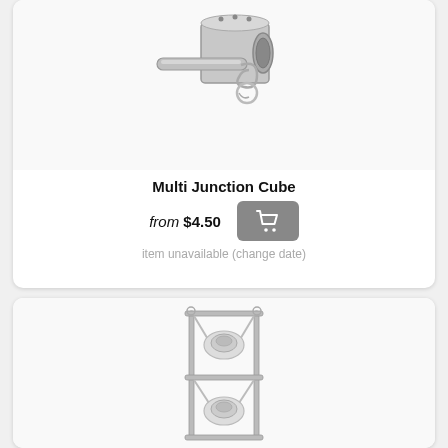[Figure (photo): Photo of a silver metal Multi Junction Cube hardware component with a pin and clip]
Multi Junction Cube
from $4.50
item unavailable (change date)
[Figure (illustration): Line illustration of a lighting fixture rigging frame with two spotlights mounted vertically]